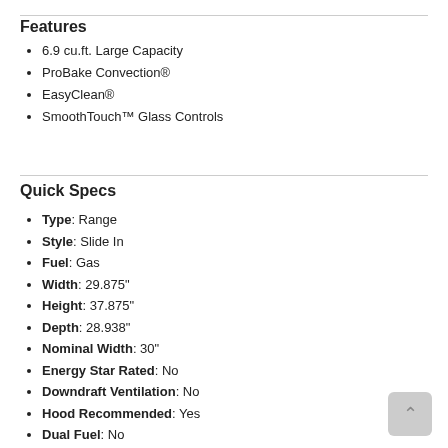Features
6.9 cu.ft. Large Capacity
ProBake Convection®
EasyClean®
SmoothTouch™ Glass Controls
Quick Specs
Type: Range
Style: Slide In
Fuel: Gas
Width: 29.875"
Height: 37.875"
Depth: 28.938"
Nominal Width: 30"
Energy Star Rated: No
Downdraft Ventilation: No
Hood Recommended: Yes
Dual Fuel: No
Burner Type: Sealed
Self Clean: Yes
Convection: Yes
First Oven: 2.6 cu. ft.